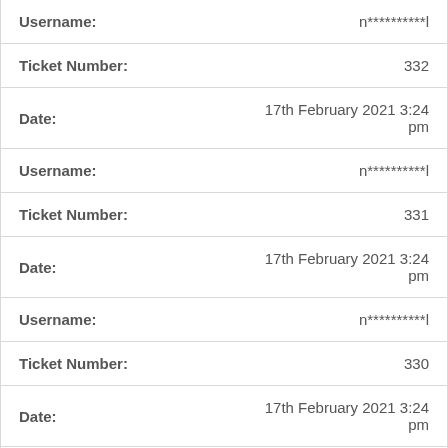| Field | Value |
| --- | --- |
| Username: | n**********l |
| Ticket Number: | 332 |
| Date: | 17th February 2021 3:24 pm |
| Username: | n**********l |
| Ticket Number: | 331 |
| Date: | 17th February 2021 3:24 pm |
| Username: | n**********l |
| Ticket Number: | 330 |
| Date: | 17th February 2021 3:24 pm |
| Username: | n**********l |